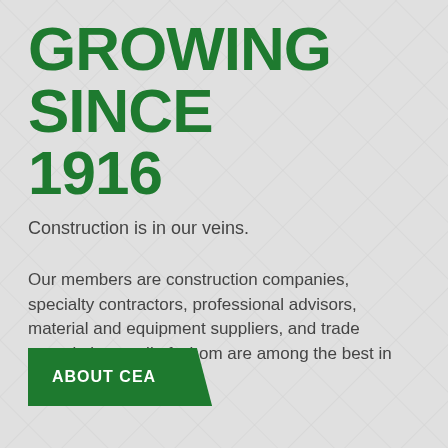GROWING SINCE 1916
Construction is in our veins.
Our members are construction companies, specialty contractors, professional advisors, material and equipment suppliers, and trade associations - all of whom are among the best in the industry.
ABOUT CEA